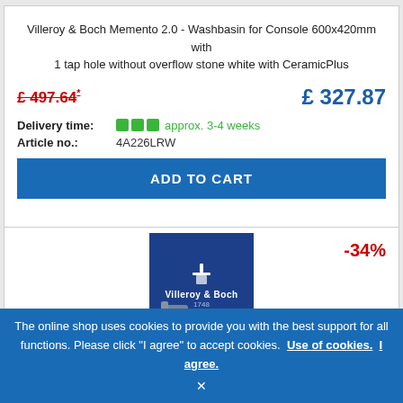Villeroy & Boch Memento 2.0 - Washbasin for Console 600x420mm with 1 tap hole without overflow stone white with CeramicPlus
£ 497.64* (strikethrough) | £ 327.87 (new price)
Delivery time: approx. 3-4 weeks
Article no.: 4A226LRW
ADD TO CART
-34%
[Figure (logo): Villeroy & Boch logo on blue background]
The online shop uses cookies to provide you with the best support for all functions. Please click "I agree" to accept cookies. Use of cookies. I agree.